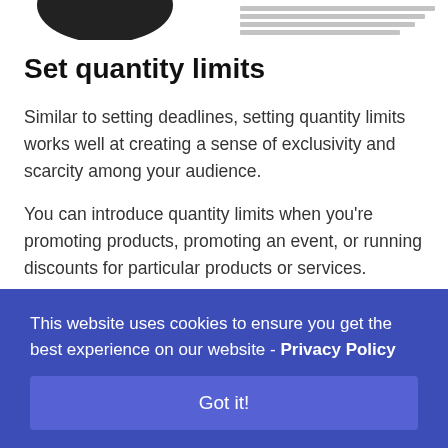[Figure (screenshot): Partial screenshot of a product or device page with small text and an image of a dark speaker/device cropped at top]
Set quantity limits
Similar to setting deadlines, setting quantity limits works well at creating a sense of exclusivity and scarcity among your audience.
You can introduce quantity limits when you're promoting products, promoting an event, or running discounts for particular products or services.
This website uses cookies to ensure you get the best experience on our website - Privacy Policy
Got it!